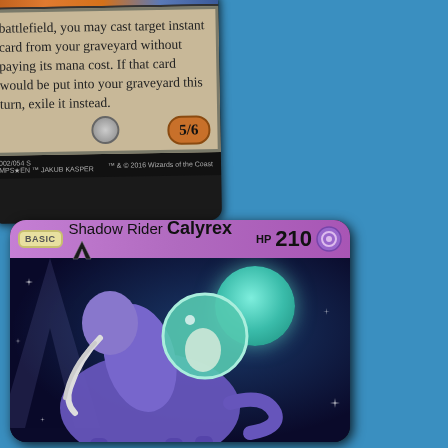[Figure (illustration): Magic: The Gathering card showing partial card text: 'battlefield, you may cast target instant card from your graveyard without paying its mana cost. If that card would be put into your graveyard this turn, exile it instead.' with power/toughness 5/6. Card number 002/054 S MPS*EN, art by Jakub Kasper, 2016 Wizards of the Coast.]
[Figure (illustration): Pokemon TCG card: Shadow Rider Calyrex V, HP 210, Psychic type (BASIC). Card art shows the purple horse-like Pokemon Calyrex with a teal spherical head/crown, set against a dark cosmic background with sparkles and a large teal orb. V-series card styling with purple header banner.]